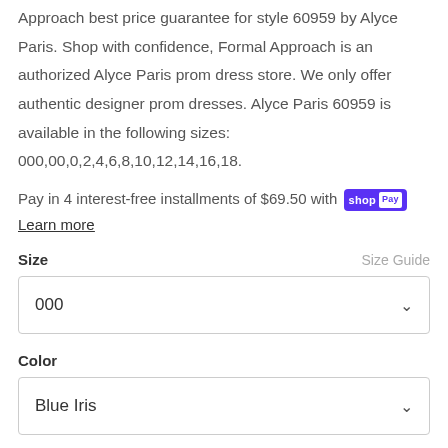Approach best price guarantee for style 60959 by Alyce Paris. Shop with confidence, Formal Approach is an authorized Alyce Paris prom dress store. We only offer authentic designer prom dresses. Alyce Paris 60959 is available in the following sizes: 000,00,0,2,4,6,8,10,12,14,16,18.
Pay in 4 interest-free installments of $69.50 with Shop Pay Learn more
Size
Size Guide
000
Color
Blue Iris